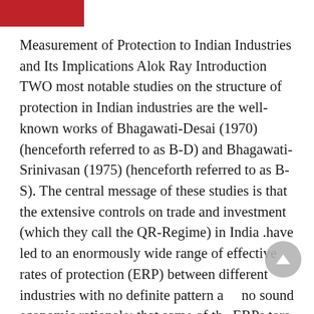Measurement of Protection to Indian Industries and Its Implications Alok Ray Introduction TWO most notable studies on the structure of protection in Indian industries are the well-known works of Bhagawati-Desai (1970) (henceforth referred to as B-D) and Bhagawati- Srinivasan (1975) (henceforth referred to as B-S). The central message of these studies is that the extensive controls on trade and investment (which they call the QR-Regime) in India .have led to an enormously wide range of effective rates of protection (ERP) between different industries with no definite pattern and no sound economic rationale; that some of the ERPs tore enormously high in absolute values; and that the ERP structure is highly unstable and